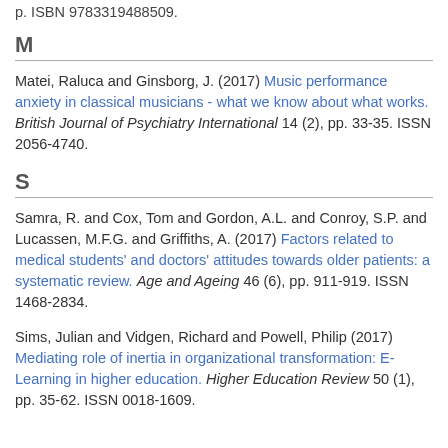p. ISBN 9783319488509.
M
Matei, Raluca and Ginsborg, J. (2017) Music performance anxiety in classical musicians - what we know about what works. British Journal of Psychiatry International 14 (2), pp. 33-35. ISSN 2056-4740.
S
Samra, R. and Cox, Tom and Gordon, A.L. and Conroy, S.P. and Lucassen, M.F.G. and Griffiths, A. (2017) Factors related to medical students' and doctors' attitudes towards older patients: a systematic review. Age and Ageing 46 (6), pp. 911-919. ISSN 1468-2834.
Sims, Julian and Vidgen, Richard and Powell, Philip (2017) Mediating role of inertia in organizational transformation: E-Learning in higher education. Higher Education Review 50 (1), pp. 35-62. ISSN 0018-1609.